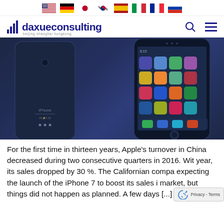Flags row: US, Germany, Japan, South Korea, Spain, Italy, France, Russia
[Figure (logo): Daxue Consulting logo with bar chart icon and tagline 'beijing shanghai hongkong']
[Figure (photo): iPhone back and front view showing apps screen on dark blue background]
For the first time in thirteen years, Apple's turnover in China decreased during two consecutive quarters in 2016. With year, its sales dropped by 30 %. The Californian compa expecting the launch of the iPhone 7 to boost its sales i market, but things did not happen as planned. A few days [...]